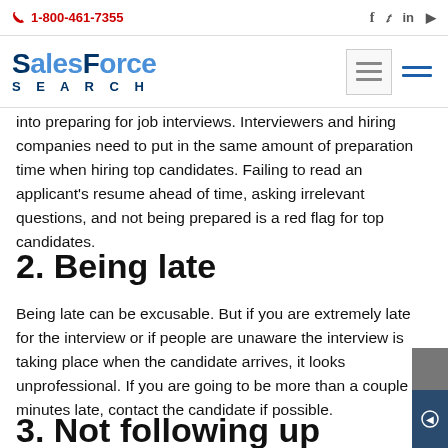1-800-461-7355
[Figure (logo): SalesForce Search logo with navy and blue text]
into preparing for job interviews. Interviewers and hiring companies need to put in the same amount of preparation time when hiring top candidates. Failing to read an applicant's resume ahead of time, asking irrelevant questions, and not being prepared is a red flag for top candidates.
2. Being late
Being late can be excusable. But if you are extremely late for the interview or if people are unaware the interview is taking place when the candidate arrives, it looks unprofessional. If you are going to be more than a couple minutes late, contact the candidate if possible.
3. Not following up